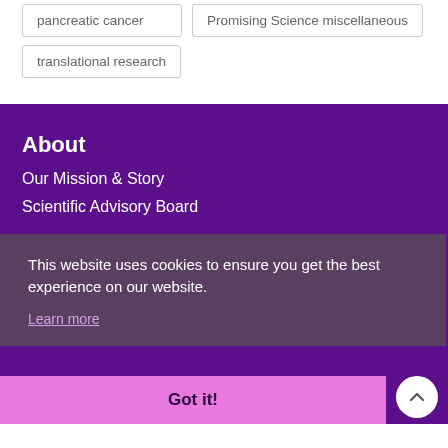pancreatic cancer
Promising Science miscellaneous
translational research
About
Our Mission & Story
Scientific Advisory Board
This website uses cookies to ensure you get the best experience on our website.
Learn more
Got it!